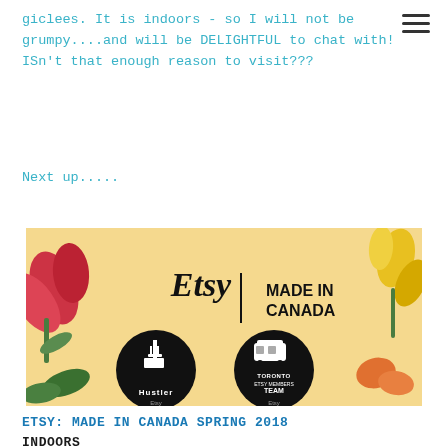giclees. It is indoors - so I will not be grumpy....and will be DELIGHTFUL to chat with! ISn't that enough reason to visit???
Next up.....
[Figure (photo): Etsy Made in Canada banner image with flowers and two black circular badges showing 'Hustler' and 'Toronto Etsy Members Team' logos on a yellow-cream background.]
ETSY: MADE IN CANADA SPRING 2018
INDOORS